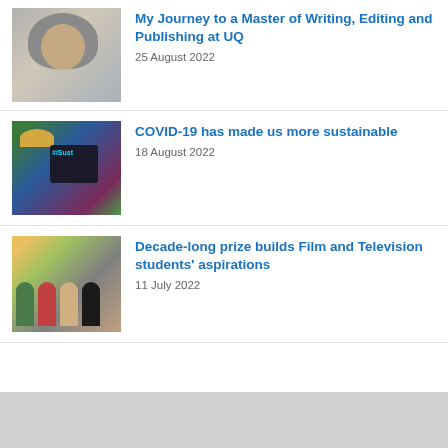[Figure (photo): Portrait photo of a woman wearing a grey hijab]
My Journey to a Master of Writing, Editing and Publishing at UQ
25 August 2022
[Figure (photo): Person wearing a hat at a sustainability event, holding a sign with #iSust text]
COVID-19 has made us more sustainable
18 August 2022
[Figure (photo): Group of four people standing outdoors, holding certificates or documents]
Decade-long prize builds Film and Television students' aspirations
11 July 2022